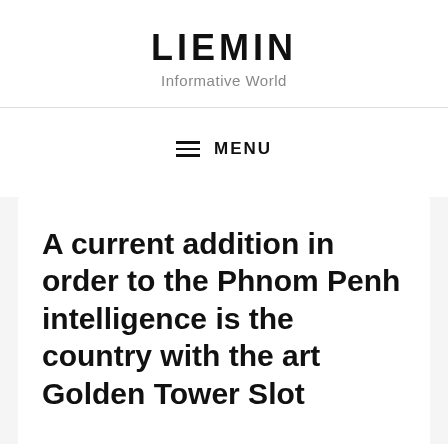LIEMIN
Informative World
≡ MENU
A current addition in order to the Phnom Penh intelligence is the country with the art Golden Tower Slot